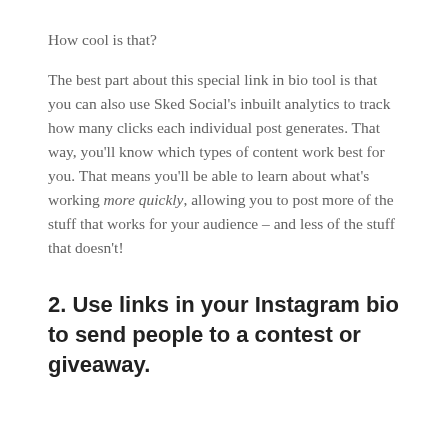How cool is that?
The best part about this special link in bio tool is that you can also use Sked Social’s inbuilt analytics to track how many clicks each individual post generates. That way, you’ll know which types of content work best for you. That means you’ll be able to learn about what’s working more quickly, allowing you to post more of the stuff that works for your audience – and less of the stuff that doesn’t!
2. Use links in your Instagram bio to send people to a contest or giveaway.